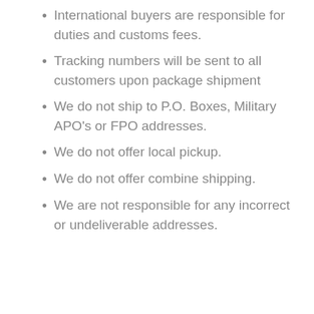International buyers are responsible for duties and customs fees.
Tracking numbers will be sent to all customers upon package shipment
We do not ship to P.O. Boxes, Military APO's or FPO addresses.
We do not offer local pickup.
We do not offer combine shipping.
We are not responsible for any incorrect or undeliverable addresses.